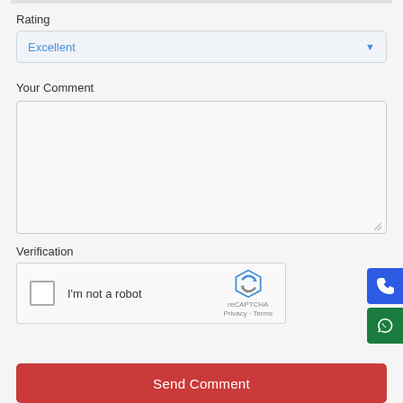Rating
[Figure (screenshot): Dropdown field showing 'Excellent' with blue text and chevron arrow]
Your Comment
[Figure (screenshot): Empty textarea for user comment input]
Verification
[Figure (screenshot): reCAPTCHA widget with checkbox 'I'm not a robot' and reCAPTCHA logo]
[Figure (screenshot): Phone icon button (blue)]
[Figure (screenshot): WhatsApp icon button (green)]
Send Comment